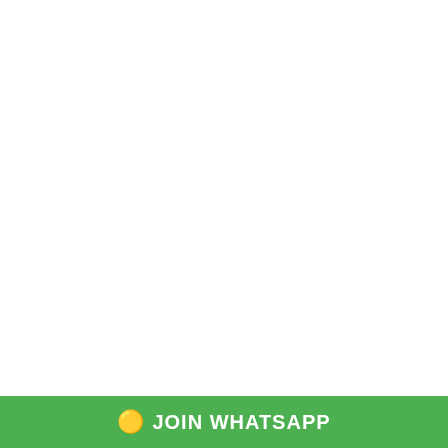Latest Naukri Updates
India Post Office Recruitment 2022 – 98083 Posts, Apply Online
JOIN WHATSAPP